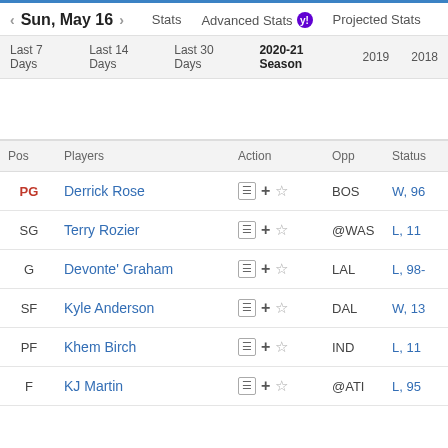Sun, May 16 | Stats | Advanced Stats | Projected Stats
Last 7 Days  Last 14 Days  Last 30 Days  2020-21 Season  2019  2018
| Pos | Players | Action | Opp | Status |
| --- | --- | --- | --- | --- |
| PG | Derrick Rose | ☰ + ☆ | BOS | W, 96 |
| SG | Terry Rozier | ☰ + ☆ | @WAS | L, 11 |
| G | Devonte' Graham | ☰ + ☆ | LAL | L, 98- |
| SF | Kyle Anderson | ☰ + ☆ | DAL | W, 13 |
| PF | Khem Birch | ☰ + ☆ | IND | L, 11 |
| F | KJ Martin | ☰ + ☆ | @ATI | L, 95 |